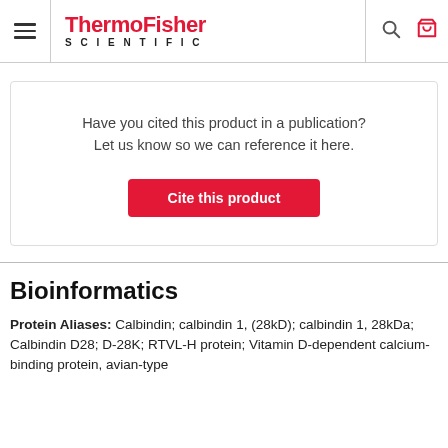ThermoFisher SCIENTIFIC
Have you cited this product in a publication? Let us know so we can reference it here.
Cite this product
Bioinformatics
Protein Aliases: Calbindin; calbindin 1, (28kD); calbindin 1, 28kDa; Calbindin D28; D-28K; RTVL-H protein; Vitamin D-dependent calcium-binding protein, avian-type